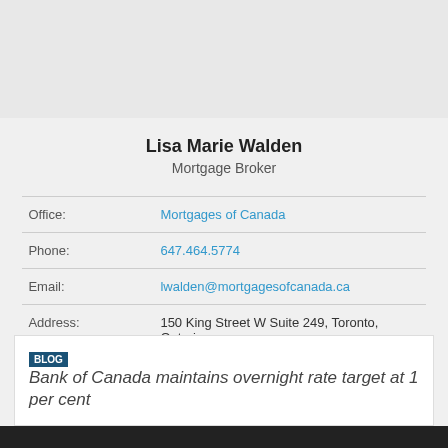Lisa Marie Walden
Mortgage Broker
| Field | Value |
| --- | --- |
| Office: | Mortgages of Canada |
| Phone: | 647.464.5774 |
| Email: | lwalden@mortgagesofcanada.ca |
| Address: | 150 King Street W Suite 249, Toronto, Ontario |
BLOG Bank of Canada maintains overnight rate target at 1 per cent